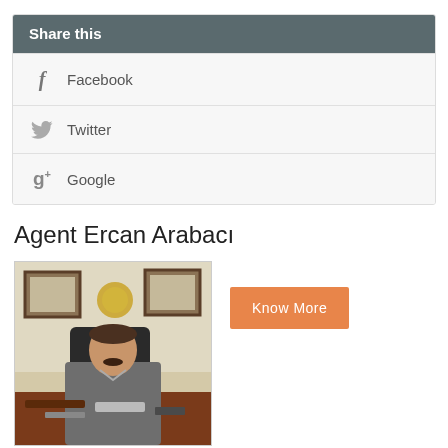Share this
Facebook
Twitter
Google
Agent Ercan Arabacı
[Figure (photo): Man in a grey jacket sitting at a desk in an office, with framed pictures and an emblem on the wall behind him.]
Know More